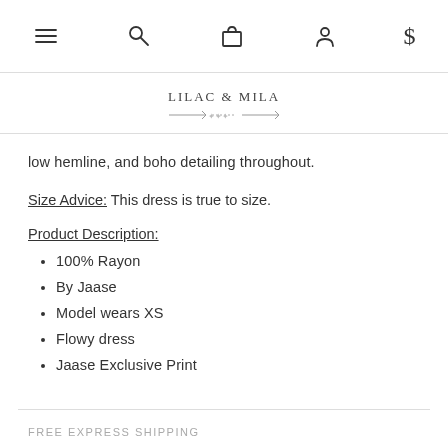Navigation bar with menu, search, bag, account, and dollar icons
[Figure (logo): Lilac & Mila brand logo with arrow decoration]
low hemline, and boho detailing throughout.
Size Advice: This dress is true to size.
Product Description:
100% Rayon
By Jaase
Model wears XS
Flowy dress
Jaase Exclusive Print
FREE EXPRESS SHIPPING